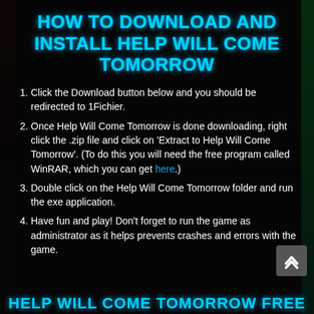HOW TO DOWNLOAD AND INSTALL HELP WILL COME TOMORROW
Click the Download button below and you should be redirected to 1Fichier.
Once Help Will Come Tomorrow is done downloading, right click the .zip file and click on 'Extract to Help Will Come Tomorrow'. (To do this you will need the free program called WinRAR, which you can get here.)
Double click on the Help Will Come Tomorrow folder and run the exe application.
Have fun and play! Don't forget to run the game as administrator as it helps prevents crashes and errors with the game.
HELP WILL COME TOMORROW FREE